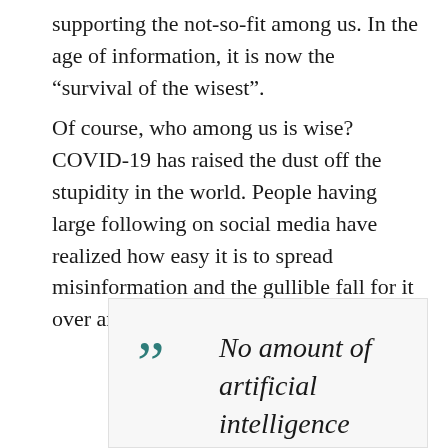supporting the not-so-fit among us. In the age of information, it is now the “survival of the wisest”.
Of course, who among us is wise? COVID-19 has raised the dust off the stupidity in the world. People having large following on social media have realized how easy it is to spread misinformation and the gullible fall for it over and over again.
” No amount of artificial intelligence